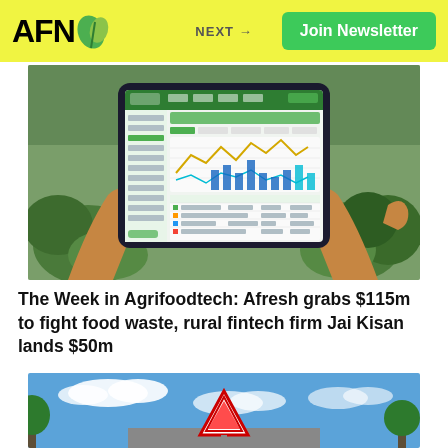AFN | NEXT → | Join Newsletter
[Figure (photo): Person holding a tablet displaying a farm/produce management dashboard with charts and data, against a background of fresh vegetables including broccoli and other produce]
The Week in Agrifoodtech: Afresh grabs $115m to fight food waste, rural fintech firm Jai Kisan lands $50m
[Figure (photo): Road scene with a warning/yield sign against a blue sky with white clouds and green trees]